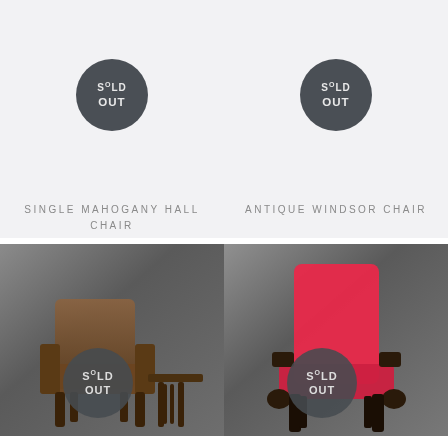[Figure (photo): Product listing showing a 'SOLD OUT' badge on a light gray background for Single Mahogany Hall Chair]
SINGLE MAHOGANY HALL CHAIR
[Figure (photo): Product listing showing a 'SOLD OUT' badge on a light gray background for Antique Windsor Chair]
ANTIQUE WINDSOR CHAIR
[Figure (photo): Photo of a brown leather antique chair on a gray background with a 'SOLD OUT' badge overlay]
[Figure (photo): Photo of a chair with bright pink/red upholstery on a gray background with a 'SOLD OUT' badge overlay]